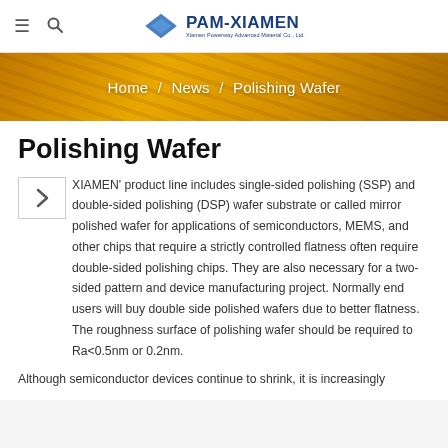PAM-XIAMEN — navigation bar with hamburger menu, search icon, and logo
[Figure (screenshot): PAM-XIAMEN logo with blue diamond shape and company name]
[Figure (photo): Golden/amber colored banner with diagonal texture lines]
Home / News / Polishing Wafer
Polishing Wafer
XIAMEN' product line includes single-sided polishing (SSP) and double-sided polishing (DSP) wafer substrate or called mirror polished wafer for applications of semiconductors, MEMS, and other chips that require a strictly controlled flatness often require double-sided polishing chips. They are also necessary for a two-sided pattern and device manufacturing project. Normally end users will buy double side polished wafers due to better flatness. The roughness surface of polishing wafer should be required to Ra<0.5nm or 0.2nm.
Although semiconductor devices continue to shrink, it is increasingly important to achieve a high level of flatness in semiconductor wafer processing.